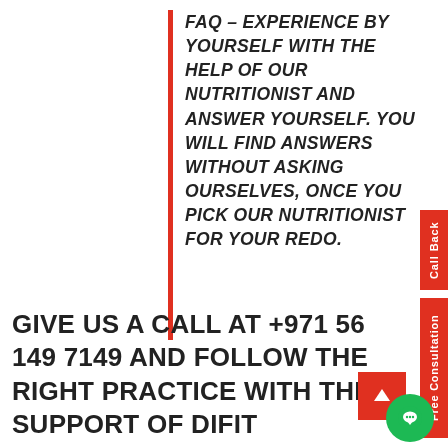FAQ – EXPERIENCE BY YOURSELF WITH THE HELP OF OUR NUTRITIONIST AND ANSWER YOURSELF. YOU WILL FIND ANSWERS WITHOUT ASKING OURSELVES, ONCE YOU PICK OUR NUTRITIONIST FOR YOUR REDO.
Call Back
Free Consultation
GIVE US A CALL AT +971 56 149 7149 AND FOLLOW THE RIGHT PRACTICE WITH THE SUPPORT OF DIFIT LIFESTYLE